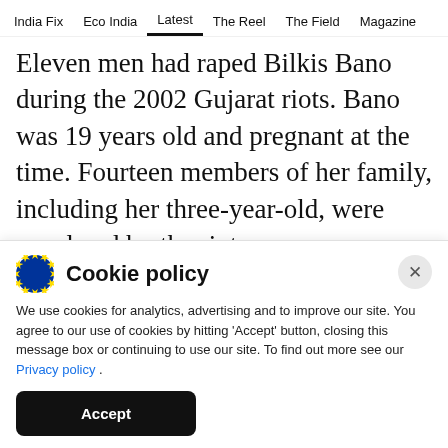India Fix   Eco India   Latest   The Reel   The Field   Magazine
Eleven men had raped Bilkis Bano during the 2002 Gujarat riots. Bano was 19 years old and pregnant at the time. Fourteen members of her family, including her three-year-old, were murdered by the rioters near Ahmedabad. Last month, the Supreme Court had ordered the Gujarat government to complete disciplinary action against police officers whom the Bombay High Court had
[Figure (other): Cookie policy popup overlay with EU flag icon, close button, body text about cookies, Privacy policy link, and Accept button]
Cookie policy
We use cookies for analytics, advertising and to improve our site. You agree to our use of cookies by hitting 'Accept' button, closing this message box or continuing to use our site. To find out more see our Privacy policy .
Accept